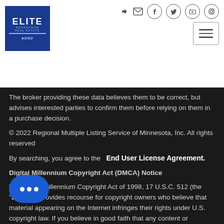[Figure (logo): Elite Advantage Real Estate logo - blue square with white text]
[Figure (other): Social media icons (login, email, facebook, twitter, youtube, instagram) and hamburger menu button]
The broker providing these data believes them to be correct, but advises interested parties to confirm them before relying on them in a purchase decision.
© 2022 Regional Multiple Listing Service of Minnesota, Inc. All rights reserved
By searching, you agree to the   End User License Agreement.
Digital Millennium Copyright Act (DMCA) Notice
The Digital Millennium Copyright Act of 1998, 17 U.S.C. 512 (the "DMCA"), provides recourse for copyright owners who believe that material appearing on the Internet infringes their rights under U.S. copyright law. If you believe in good faith that any content or
le available in connection with our website or
inges your copyright, you (or your agent) may send